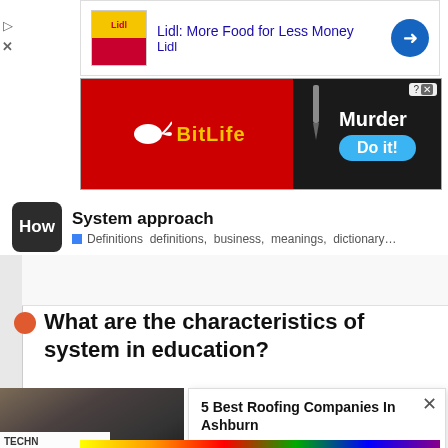[Figure (screenshot): Lidl advertisement: 'Lidl: More Food for Less Money' with Lidl logo and blue arrow icon]
[Figure (screenshot): BitLife advertisement with red background showing 'Murder Do it!' text and BitLife logo]
[Figure (screenshot): Search result showing 'How' logo with 'System approach' title and tags: Definitions, definitions, business, meanings, dictionary...]
What are the characteristics of system in education?
[Figure (screenshot): Photo of a damaged roof with slate shingles]
[Figure (screenshot): Popup ad: '5 Best Roofing Companies In Ashburn' - Roof Restoration | Sponsored Sea... | Sponsored]
[Figure (screenshot): BitLife advertisement at bottom with rainbow background, text 'WHEN REAL LIFE IS QUARANTINED' and BitLife logo with emoji character]